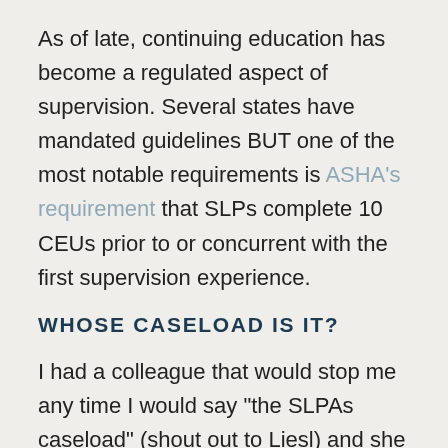As of late, continuing education has become a regulated aspect of supervision. Several states have mandated guidelines BUT one of the most notable requirements is ASHA's requirement that SLPs complete 10 CEUs prior to or concurrent with the first supervision experience.
WHOSE CASELOAD IS IT?
I had a colleague that would stop me any time I would say "the SLPAs caseload" (shout out to Liesl) and she was 100% accurate. This is your caseload. This caseload is under YOUR license and that's why being an expert in the regulations